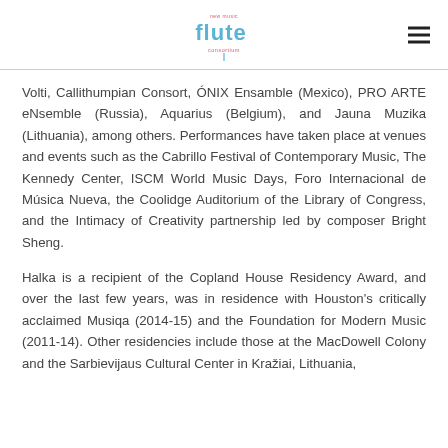flute consortium [logo]
Volti, Callithumpian Consort, ÓNIX Ensamble (Mexico), PRO ARTE eNsemble (Russia), Aquarius (Belgium), and Jauna Muzika (Lithuania), among others. Performances have taken place at venues and events such as the Cabrillo Festival of Contemporary Music, The Kennedy Center, ISCM World Music Days, Foro Internacional de Música Nueva, the Coolidge Auditorium of the Library of Congress, and the Intimacy of Creativity partnership led by composer Bright Sheng.
Halka is a recipient of the Copland House Residency Award, and over the last few years, was in residence with Houston's critically acclaimed Musiqa (2014-15) and the Foundation for Modern Music (2011-14). Other residencies include those at the MacDowell Colony and the Sarbievijaus Cultural Center in Kražiai, Lithuania,